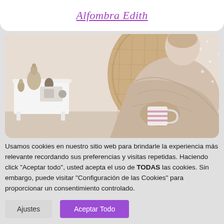Alfombra Edith
[Figure (photo): Cozy interior scene showing a person wrapped in a beige blanket sitting in a wicker chair, holding a striped mug. A white bedside table with decorative objects is visible on the left.]
Usamos cookies en nuestro sitio web para brindarle la experiencia más relevante recordando sus preferencias y visitas repetidas. Haciendo click "Aceptar todo", usted acepta el uso de TODAS las cookies. Sin embargo, puede visitar "Configuración de las Cookies" para proporcionar un consentimiento controlado.
Ajustes
Aceptar Todo